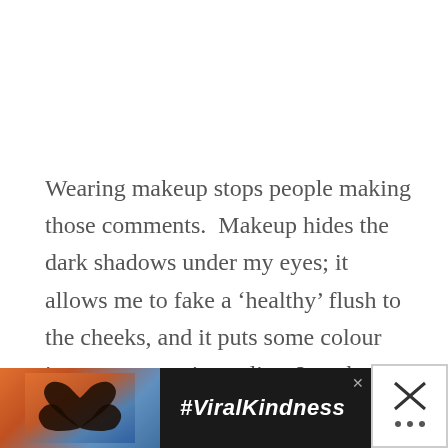Wearing makeup stops people making those comments.  Makeup hides the dark shadows under my eyes; it allows me to fake a ‘healthy’ flush to the cheeks, and it puts some colour into my non-existent lips. It makes me feel better, basically, and that’s why I love it.
[Figure (infographic): Dark advertisement banner with heart-shaped hands silhouette against a sunset sky background and the hashtag #ViralKindness in white bold italic text, with a close button]